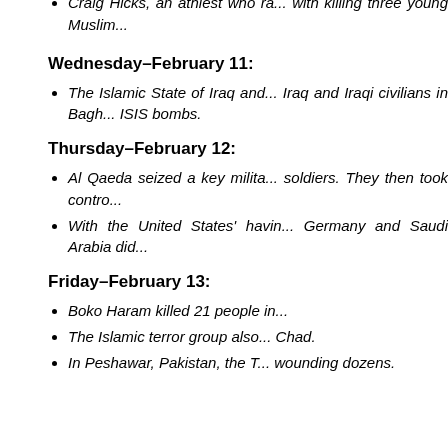Craig Hicks, an athiest who ra... with killing three young Muslim...
Wednesday–February 11:
The Islamic State of Iraq and... Iraq and Iraqi civilians in Bagh... ISIS bombs.
Thursday–February 12:
Al Qaeda seized a key milita... soldiers. They then took contro...
With the United States' havin... Germany and Saudi Arabia did...
Friday–February 13:
Boko Haram killed 21 people in...
The Islamic terror group also... Chad.
In Peshawar, Pakistan, the T... wounding dozens.